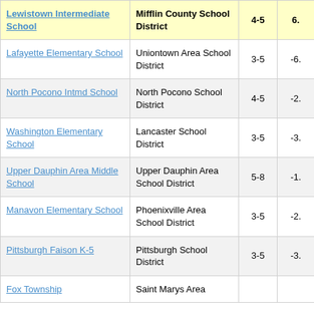| School | District | Grades | Value |
| --- | --- | --- | --- |
| Lewistown Intermediate School | Mifflin County School District | 4-5 | 6. |
| Lafayette Elementary School | Uniontown Area School District | 3-5 | -6. |
| North Pocono Intmd School | North Pocono School District | 4-5 | -2. |
| Washington Elementary School | Lancaster School District | 3-5 | -3. |
| Upper Dauphin Area Middle School | Upper Dauphin Area School District | 5-8 | -1. |
| Manavon Elementary School | Phoenixville Area School District | 3-5 | -2. |
| Pittsburgh Faison K-5 | Pittsburgh School District | 3-5 | -3. |
| Fox Township... | Saint Marys Area... |  |  |